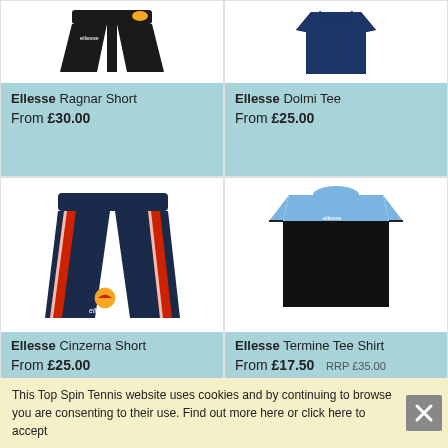[Figure (photo): Ellesse Ragnar Short - black shorts with orange logo]
Ellesse Ragnar Short
From £30.00
[Figure (photo): Ellesse Dolmi Tee - navy blue t-shirt]
Ellesse Dolmi Tee
From £25.00
[Figure (photo): Ellesse Cinzerna Short - navy shorts with red side stripes and Ellesse logo]
Ellesse Cinzerna Short
From £25.00
[Figure (photo): Ellesse Termine Tee Shirt - light blue and black panel t-shirt]
Ellesse Termine Tee Shirt
From £17.50  RRP £35.00
This Top Spin Tennis website uses cookies and by continuing to browse you are consenting to their use. Find out more here or click here to accept